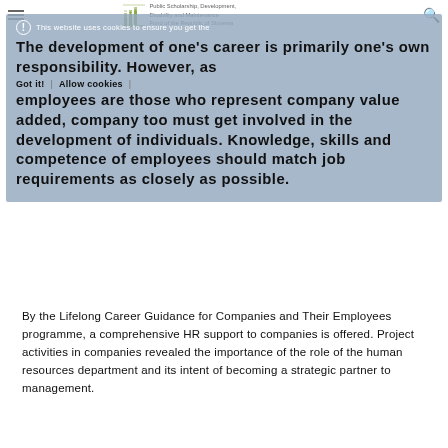Public Scholarship, Development, Disability and Maintenance Fund of the Republic of Slovenia
This website uses cookies to ensure you get the
The development of one's career is primarily one's own responsibility. However, as employees are those who represent company value added, company too must get involved in the development of individuals. Knowledge, skills and competence of employees should match job requirements as closely as possible.
By the Lifelong Career Guidance for Companies and Their Employees programme, a comprehensive HR support to companies is offered. Project activities in companies revealed the importance of the role of the human resources department and its intent of becoming a strategic partner to management.